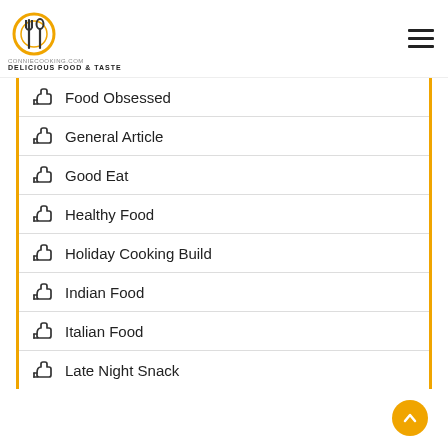CONNIECOOKING.COM DELICIOUS FOOD & TASTE
Food Obsessed
General Article
Good Eat
Healthy Food
Holiday Cooking Build
Indian Food
Italian Food
Late Night Snack